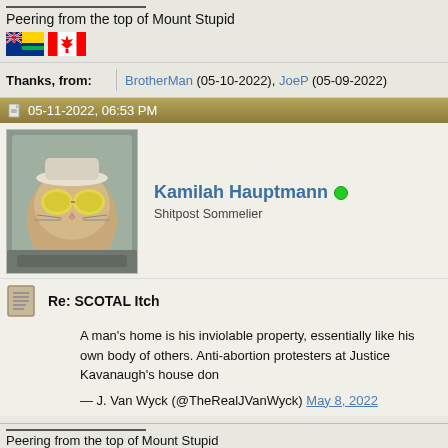Peering from the top of Mount Stupid
[Figure (illustration): Two small flags: British Columbia flag and Canadian flag]
| Thanks, from: | BrotherMan (05-10-2022), JoeP (05-09-2022) |
| --- | --- |
05-11-2022, 06:53 PM
[Figure (photo): Avatar photo of a cat wearing sunglasses and a hat, peering out a car window]
Kamilah Hauptmann
Shitpost Sommelier
Re: SCOTAL Itch
A man's home is his inviolable property, essentially like his own body of others. Anti-abortion protesters at Justice Kavanaugh's house don
— J. Van Wyck (@TheRealJVanWyck) May 8, 2022
Peering from the top of Mount Stupid